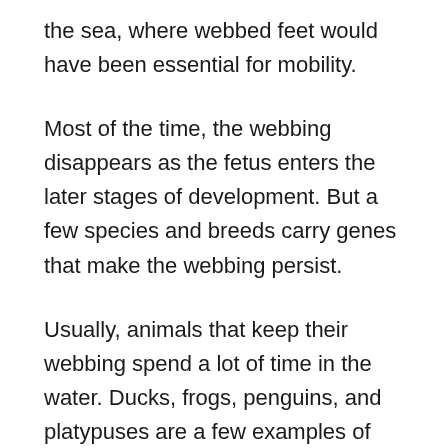the sea, where webbed feet would have been essential for mobility.
Most of the time, the webbing disappears as the fetus enters the later stages of development. But a few species and breeds carry genes that make the webbing persist.
Usually, animals that keep their webbing spend a lot of time in the water. Ducks, frogs, penguins, and platypuses are a few examples of semi-aquatic animals with webbed feet.
But you can still see evidence of webbing on strictly